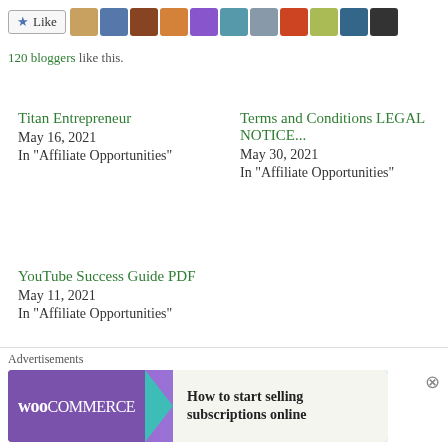[Figure (screenshot): WordPress Like button with star icon and a row of blogger avatar thumbnails]
120 bloggers like this.
Titan Entrepreneur
May 16, 2021
In "Affiliate Opportunities"
Terms and Conditions LEGAL NOTICE...
May 30, 2021
In "Affiliate Opportunities"
YouTube Success Guide PDF
May 11, 2021
In "Affiliate Opportunities"
James MoField   June 2, 2021
Affiliate Opportunities, Free Training, How To Make Money, Make Money From Home, make Money Online
[Figure (screenshot): WooCommerce advertisement banner: How to start selling subscriptions online]